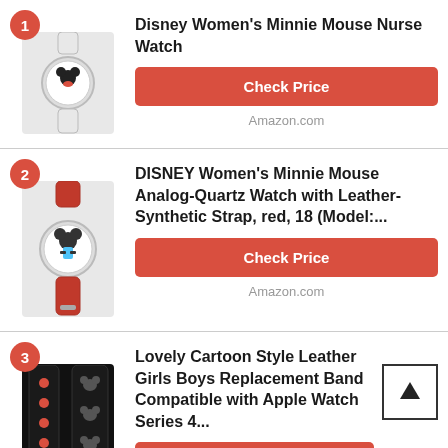1 Disney Women's Minnie Mouse Nurse Watch — Check Price — Amazon.com
2 DISNEY Women's Minnie Mouse Analog-Quartz Watch with Leather-Synthetic Strap, red, 18 (Model:... — Check Price — Amazon.com
3 Lovely Cartoon Style Leather Girls Boys Replacement Band Compatible with Apple Watch Series 4... — Check Price — Amazon.com